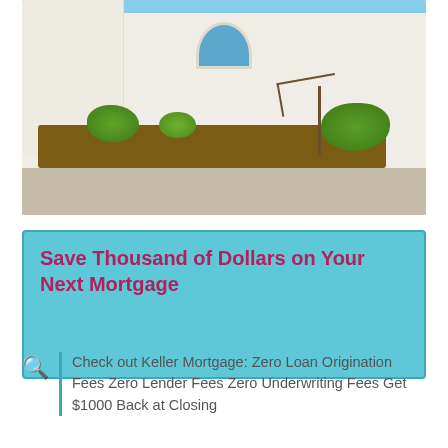[Figure (photo): Exterior photo of a white stucco Spanish-style house with arched window, green shrubs, bare tree, mulch landscaping, and sidewalk in front. Blue sky visible above.]
Save Thousand of Dollars on Your Next Mortgage
Check out Keller Mortgage: Zero Loan Origination Fees Zero Lender Fees Zero Underwriting Fees Get $1000 Back at Closing